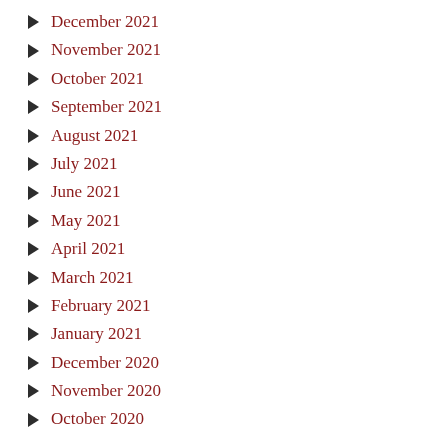December 2021
November 2021
October 2021
September 2021
August 2021
July 2021
June 2021
May 2021
April 2021
March 2021
February 2021
January 2021
December 2020
November 2020
October 2020